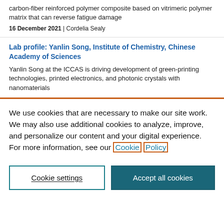carbon-fiber reinforced polymer composite based on vitrimeric polymer matrix that can reverse fatigue damage
16 December 2021 | Cordelia Sealy
Lab profile: Yanlin Song, Institute of Chemistry, Chinese Academy of Sciences
Yanlin Song at the ICCAS is driving development of green-printing technologies, printed electronics, and photonic crystals with nanomaterials
We use cookies that are necessary to make our site work. We may also use additional cookies to analyze, improve, and personalize our content and your digital experience. For more information, see our Cookie Policy
Cookie settings
Accept all cookies